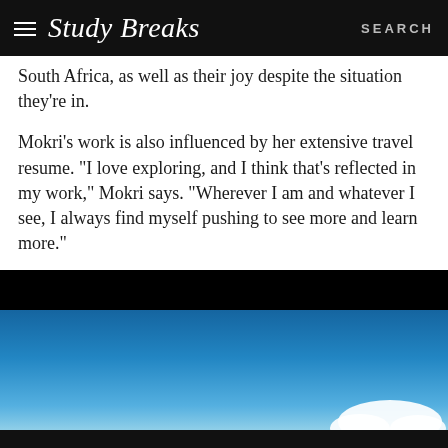Study Breaks  SEARCH
South Africa, as well as their joy despite the situation they're in.
Mokri's work is also influenced by her extensive travel resume. “I love exploring, and I think that’s reflected in my work,” Mokri says. “Wherever I am and whatever I see, I always find myself pushing to see more and learn more.”
[Figure (photo): Partial photograph showing a blue sky with a small white cloud visible at the bottom right, cropped at the bottom of the page.]